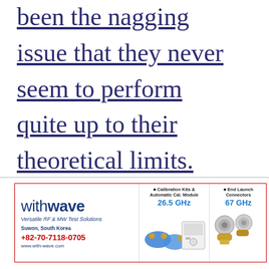been the nagging issue that they never seem to perform quite up to their theoretical limits. Now in joint ..."
[Figure (illustration): Advertisement for withwave - Versatile RF & MW Test Solutions, Suwon, South Korea. Phone: +82-70-7118-0705, www.with-wave.com. Products: Calibration Kits & Automatic Cal. Module 26.5 GHz, End Launch Connectors 67 GHz, with product images.]